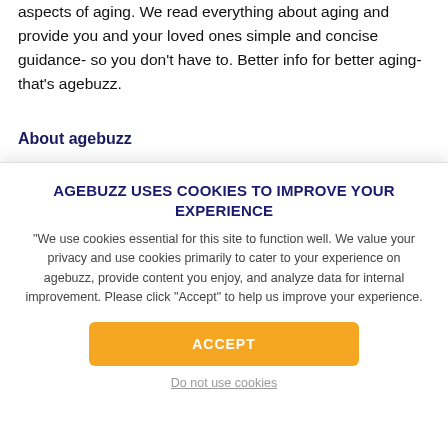aspects of aging. We read everything about aging and provide you and your loved ones simple and concise guidance- so you don't have to. Better info for better aging- that's agebuzz.
About agebuzz
[Figure (screenshot): Cookie consent modal overlay with title 'AGEBUZZ USES COOKIES TO IMPROVE YOUR EXPERIENCE', body text about cookie usage, an orange ACCEPT button, and a 'Do not use cookies' link.]